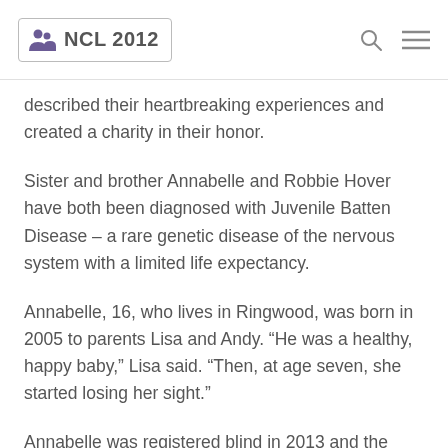NCL 2012
described their heartbreaking experiences and created a charity in their honor.
Sister and brother Annabelle and Robbie Hover have both been diagnosed with Juvenile Batten Disease – a rare genetic disease of the nervous system with a limited life expectancy.
Annabelle, 16, who lives in Ringwood, was born in 2005 to parents Lisa and Andy. “He was a healthy, happy baby,” Lisa said. “Then, at age seven, she started losing her sight.”
Annabelle was registered blind in 2013 and the family have spent years trying to understand the cause of her vision loss. In 2016, she underwent